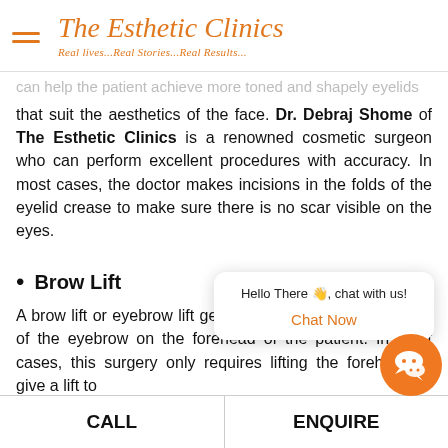The Esthetic Clinics — Real lives...Real Stories...Real Results...
can help the patient achieve more toned and shapely eyelids that suit the aesthetics of the face. Dr. Debraj Shome of The Esthetic Clinics is a renowned cosmetic surgeon who can perform excellent procedures with accuracy. In most cases, the doctor makes incisions in the folds of the eyelid crease to make sure there is no scar visible on the eyes.
Brow Lift
A brow lift or eyebrow lift generally addresses the position of the eyebrow on the forehead of the patient. In most cases, this surgery only requires lifting the forehead to give a lift to
[Figure (screenshot): Chat popup with text 'Hello There 👋, chat with us!' and 'Chat Now' button in orange]
CALL    ENQUIRE